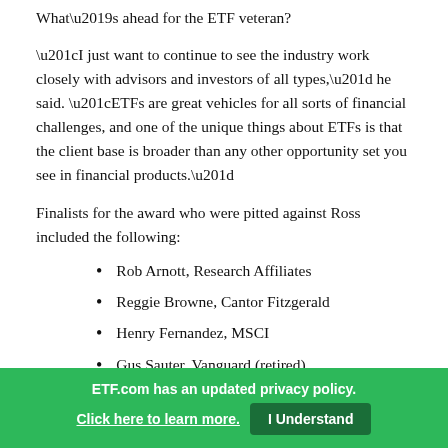What’s ahead for the ETF veteran?
“I just want to continue to see the industry work closely with advisors and investors of all types,” he said. “ETFs are great vehicles for all sorts of financial challenges, and one of the unique things about ETFs is that the client base is broader than any other opportunity set you see in financial products.”
Finalists for the award who were pitted against Ross included the following:
Rob Arnott, Research Affiliates
Reggie Browne, Cantor Fitzgerald
Henry Fernandez, MSCI
Gus Sauter, Vanguard (retired)
ETF.com has an updated privacy policy. Click here to learn more.  I Understand